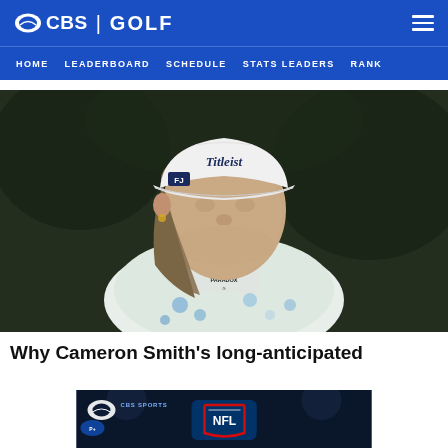CBS | GOLF
HOME  LEADERBOARD  SCHEDULE  STATS LEADERS  RANK
[Figure (photo): Cameron Smith, a professional golfer, wearing a white Titleist cap, FJ shirt collar, and a floral patterned shirt with Paradox badge, looking to the right against a dark background]
Why Cameron Smith's long-anticipated
[Figure (screenshot): CBS Sports NFL advertisement banner showing NFL shield logo against dark night sky stadium background]